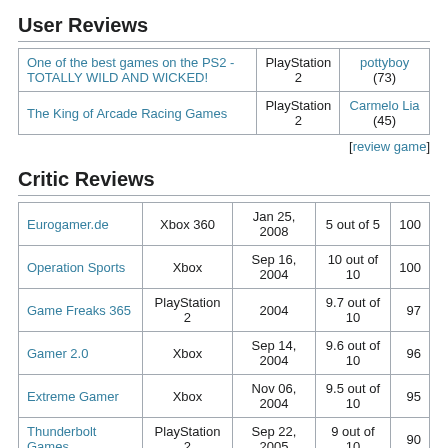User Reviews
|  |  |  |
| --- | --- | --- |
| One of the best games on the PS2 - TOTALLY WILD AND WICKED! | PlayStation 2 | pottyboy (73) |
| The King of Arcade Racing Games | PlayStation 2 | Carmelo Lia (45) |
[review game]
Critic Reviews
|  |  |  |  |  |
| --- | --- | --- | --- | --- |
| Eurogamer.de | Xbox 360 | Jan 25, 2008 | 5 out of 5 | 100 |
| Operation Sports | Xbox | Sep 16, 2004 | 10 out of 10 | 100 |
| Game Freaks 365 | PlayStation 2 | 2004 | 9.7 out of 10 | 97 |
| Gamer 2.0 | Xbox | Sep 14, 2004 | 9.6 out of 10 | 96 |
| Extreme Gamer | Xbox | Nov 06, 2004 | 9.5 out of 10 | 95 |
| Thunderbolt Games | PlayStation 2 | Sep 22, 2005 | 9 out of 10 | 90 |
| Jive Magazine | Xbox | Sep 07, 2004 | 4.5 out of 5 | 90 |